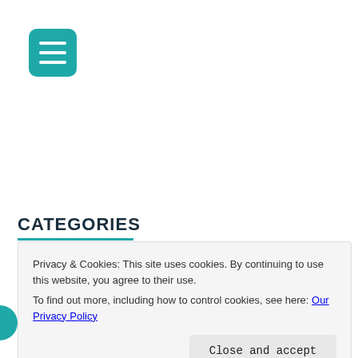[Figure (other): Teal hamburger menu button icon with three white horizontal lines]
CATEGORIES
Privacy & Cookies: This site uses cookies. By continuing to use this website, you agree to their use.
To find out more, including how to control cookies, see here: Our Privacy Policy
Close and accept